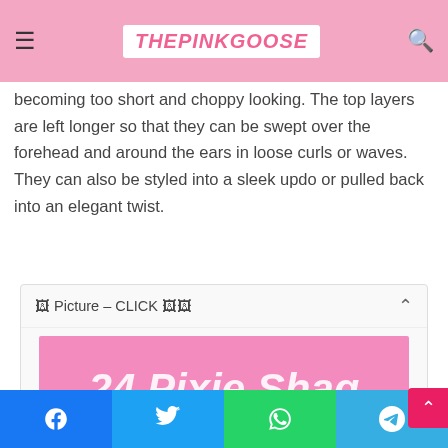THEPINKGOOSE
…ugh to keep them from becoming too short and choppy looking. The top layers are left longer so that they can be swept over the forehead and around the ears in loose curls or waves. They can also be styled into a sleek updo or pulled back into an elegant twist.
🖼 Picture – CLICK 🖼🖼
[Figure (illustration): Pink background graphic with white bold italic text reading '24 Pixie Shag Haircut Ideas']
Social share buttons: Facebook, Twitter, WhatsApp, Telegram